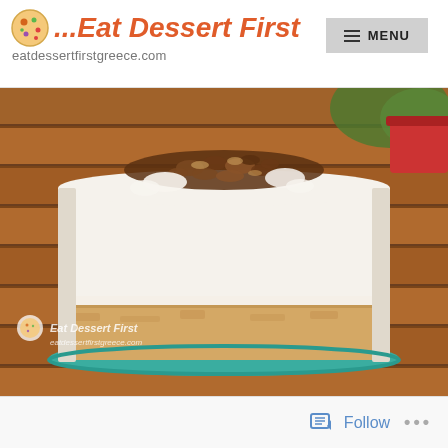[Figure (logo): Eat Dessert First logo with cookie icon and subtitle eatdessertfirstgreece.com]
[Figure (photo): A layered cream cake with chopped nuts on top, sitting on a wooden slat table. The cake has a biscuit/cookie base layer and thick whipped cream filling and topping. A watermark with the Eat Dessert First branding is visible on the lower left of the image.]
[Figure (other): Footer bar with Follow button (blue bookmark icon) and three-dot menu]